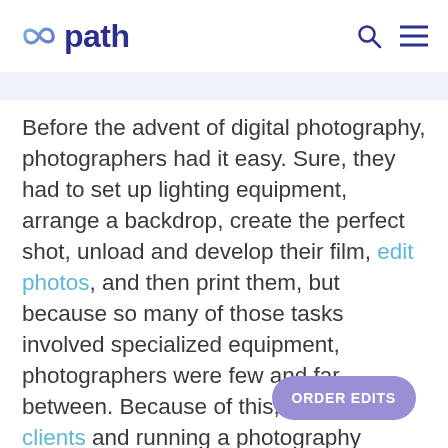[Figure (logo): Path logo with infinity/path icon in blue gradient and bold 'path' text in dark blue]
Before the advent of digital photography, photographers had it easy. Sure, they had to set up lighting equipment, arrange a backdrop, create the perfect shot, unload and develop their film, edit photos, and then print them, but because so many of those tasks involved specialized equipment, photographers were few and far between. Because of this, getting new clients and running a photography business was simpler.